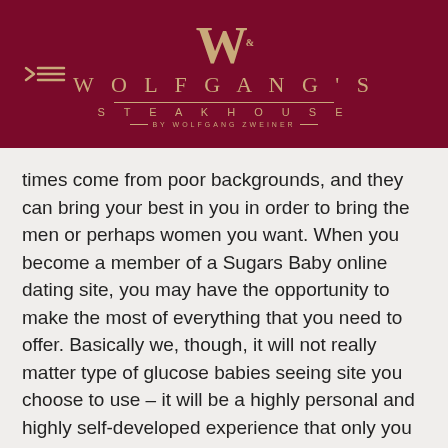[Figure (logo): Wolfgang's Steakhouse logo with W monogram and decorative text on dark red background, with hamburger menu icon on the left]
times come from poor backgrounds, and they can bring your best in you in order to bring the men or perhaps women you want. When you become a member of a Sugars Baby online dating site, you may have the opportunity to make the most of everything that you need to offer. Basically we, though, it will not really matter type of glucose babies seeing site you choose to use – it will be a highly personal and highly self-developed experience that only you can have. The important thing is that you figure out what works for you, and then you certainly build on that to find the right person to be in his campany when you are prepared to take that next step toward commitment.